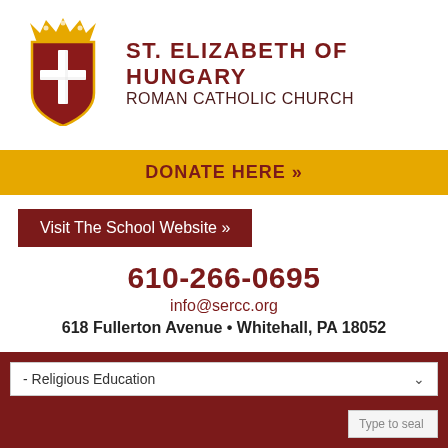[Figure (logo): St. Elizabeth of Hungary Roman Catholic Church shield logo with gold crown on top, dark red shield with white cross]
ST. ELIZABETH OF HUNGARY
ROMAN CATHOLIC CHURCH
DONATE HERE »
Visit The School Website »
610-266-0695
info@sercc.org
618 Fullerton Avenue • Whitehall, PA 18052
- Religious Education
Type to seal